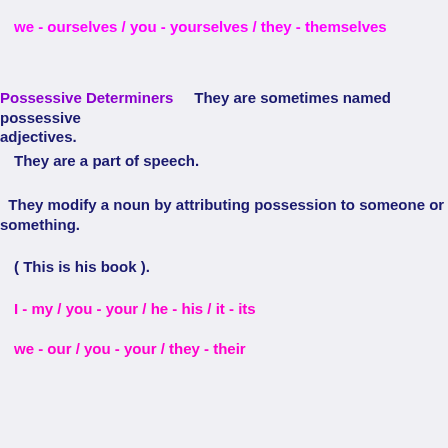we - ourselves / you - yourselves / they - themselves
Possessive Determiners    They are sometimes named possessive adjectives.
They are a part of speech.
They modify a noun by attributing possession to someone or something.
( This is his book ).
I - my / you - your / he - his / it - its
we - our / you - your / they - their